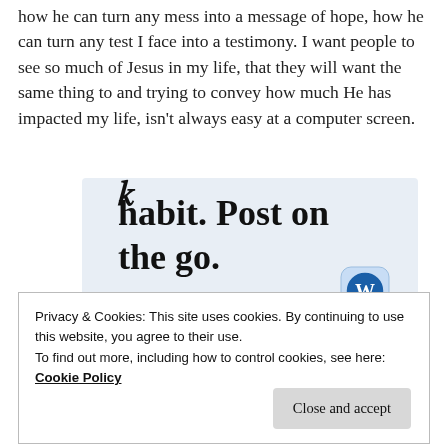how he can turn any mess into a message of hope, how he can turn any test I face into a testimony. I want people to see so much of Jesus in my life, that they will want the same thing to and trying to convey how much He has impacted my life, isn't always easy at a computer screen.
[Figure (other): WordPress app advertisement banner showing partial text 'habit. Post on the go.' with a 'GET THE APP' link and WordPress logo]
Privacy & Cookies: This site uses cookies. By continuing to use this website, you agree to their use.
To find out more, including how to control cookies, see here:
Cookie Policy